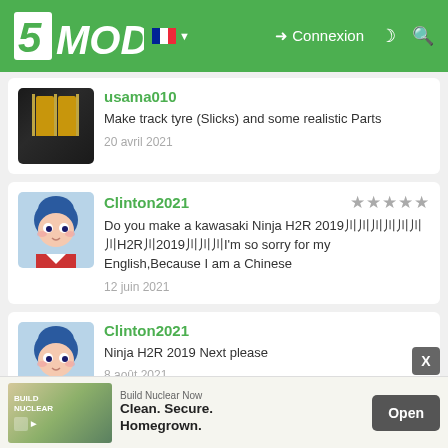5MODS — Connexion
usama010 — Make track tyre (Slicks) and some realistic Parts — 20 avril 2021
Clinton2021 — Do you make a kawasaki Ninja H2R 2019川川川川川川川H2R川2019川川川I'm so sorry for my English,Because I am a Chinese — 12 juin 2021
Clinton2021 — Ninja H2R 2019 Next please — 8 août 2021
Clinton2021 — [ad overlay] — otate?
[Figure (screenshot): Advertisement banner: Build Nuclear Now — Clean. Secure. Homegrown. — Open button]